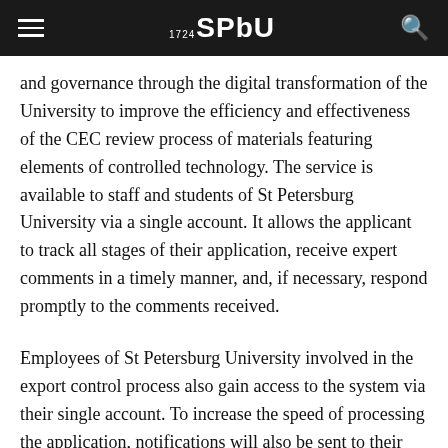SPbU
and governance through the digital transformation of the University to improve the efficiency and effectiveness of the CEC review process of materials featuring elements of controlled technology. The service is available to staff and students of St Petersburg University via a single account. It allows the applicant to track all stages of their application, receive expert comments in a timely manner, and, if necessary, respond promptly to the comments received.
Employees of St Petersburg University involved in the export control process also gain access to the system via their single account. To increase the speed of processing the application, notifications will also be sent to their emails to notify them of the need to review the materials for export control initiated by the authorised